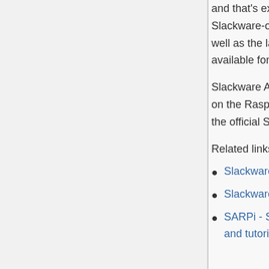and that's exactly what you will find when running it on the Raspberry Pi. The Slackware-on-Raspberry Pi community caters for all the original RPi versions as well as the latest Raspberry Pi 3 model B. Slackware ARM hard float port is now available for the Raspberry Pi 2 and Raspberry Pi 3.
Slackware ARM is not supported by the Raspberry Pi Foundation. The Slackware on the Raspberry Pi is only supported by the Slackware community, outside of the official Slackware ARM tree.
Related links:
Slackware-on-Raspberry Pi Community Page
Slackware ARM Forum
SARPi - Slackware ARM on a Raspberry Pi 1/2/3 installer images, packages, and tutorial